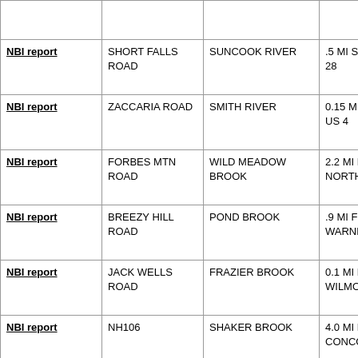|  |  |  |  |
| --- | --- | --- | --- |
| NBI report | SHORT FALLS ROAD | SUNCOOK RIVER | .5 MI S. J… 28 |
| NBI report | ZACCARIA ROAD | SMITH RIVER | 0.15 MI S… US 4 |
| NBI report | FORBES MTN ROAD | WILD MEADOW BROOK | 2.2 MI FR… NORTH R… |
| NBI report | BREEZY HILL ROAD | POND BROOK | .9 MI FRO… WARNER… |
| NBI report | JACK WELLS ROAD | FRAZIER BROOK | 0.1 MI FR… WILMOT T… |
| NBI report | NH106 | SHAKER BROOK | 4.0 MI N… CONCOR… |
| NBI report | TYLER ROAD | BLACKWATER RIVER | 3.0 MI N O… HOPKINT… |